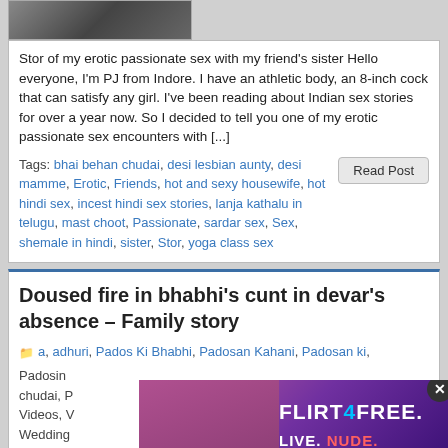[Figure (photo): Thumbnail image, partially visible at top of card]
Stor of my erotic passionate sex with my friend's sister Hello everyone, I'm PJ from Indore. I have an athletic body, an 8-inch cock that can satisfy any girl. I've been reading about Indian sex stories for over a year now. So I decided to tell you one of my erotic passionate sex encounters with [...]
Tags: bhai behan chudai, desi lesbian aunty, desi mamme, Erotic, Friends, hot and sexy housewife, hot hindi sex, incest hindi sex stories, lanja kathalu in telugu, mast choot, Passionate, sardar sex, Sex, shemale in hindi, sister, Stor, yoga class sex
Doused fire in bhabhi's cunt in devar's absence – Family story
a, adhuri, Pados Ki Bhabhi, Padosan Kahani, Padosan ki, Padosan... chudai, P... Se, Videos, V... g, Wedding... ues, xxx storie...
[Figure (advertisement): FLIRT4FREE advertisement with woman figure and text LIVE. NUDE.]